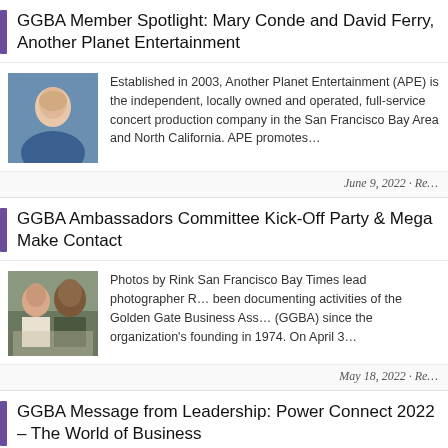GGBA Member Spotlight: Mary Conde and David Ferry, Another Planet Entertainment
[Figure (photo): Portrait photo of a woman smiling, outdoors background]
Established in 2003, Another Planet Entertainment (APE) is the independent, locally owned and operated, full-service concert production company in the San Francisco Bay Area and North California. APE promotes…
June 9, 2022 · Re…
GGBA Ambassadors Committee Kick-Off Party & Mega Make Contact
[Figure (photo): Group photo of two people seated at a table with food]
Photos by Rink San Francisco Bay Times lead photographer R… been documenting activities of the Golden Gate Business Ass… (GGBA) since the organization's founding in 1974. On April 3…
May 18, 2022 · Re…
GGBA Message from Leadership: Power Connect 2022 – The World of Business